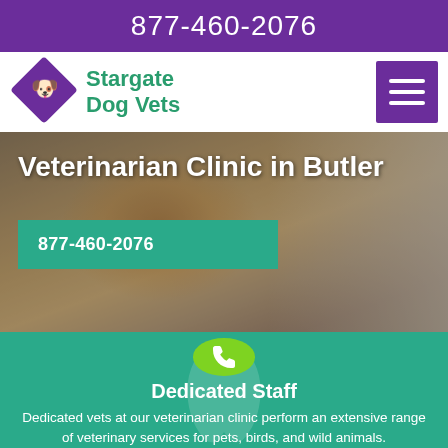877-460-2076
Stargate Dog Vets
[Figure (logo): Purple diamond-shaped logo with a dog silhouette inside]
[Figure (photo): Veterinarian examining a Cavalier King Charles Spaniel dog with a stethoscope]
Veterinarian Clinic in Butler
877-460-2076
[Figure (illustration): Green circle with white phone handset icon]
Dedicated Staff
Dedicated vets at our veterinarian clinic perform an extensive range of veterinary services for pets, birds, and wild animals.